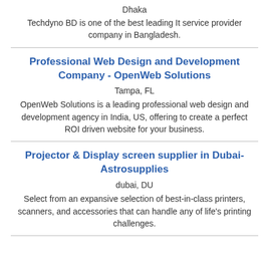Dhaka
Techdyno BD is one of the best leading It service provider company in Bangladesh.
Professional Web Design and Development Company - OpenWeb Solutions
Tampa, FL
OpenWeb Solutions is a leading professional web design and development agency in India, US, offering to create a perfect ROI driven website for your business.
Projector & Display screen supplier in Dubai-Astrosupplies
dubai, DU
Select from an expansive selection of best-in-class printers, scanners, and accessories that can handle any of life's printing challenges.